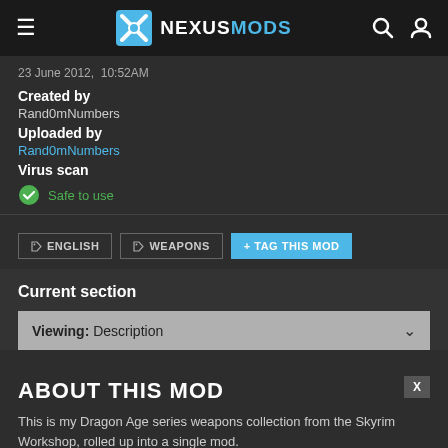NEXUSMODS
23 June 2012,  10:52AM
Created by
Rand0mNumbers
Uploaded by
Rand0mNumbers
Virus scan
Safe to use
ENGLISH
WEAPONS
+ TAG THIS MOD
Current section
Viewing: Description
ABOUT THIS MOD
This is my Dragon Age series weapons collection from the Skyrim Workshop, rolled up into a single mod.